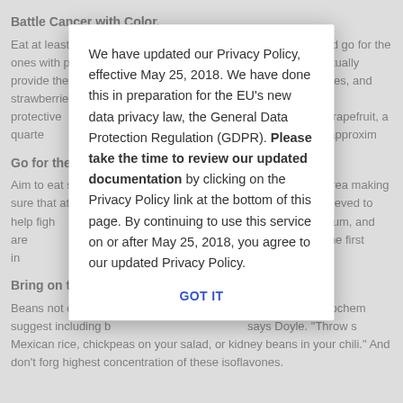Battle Cancer with Color.
Eat at least five servings of fruits and vegetables each day. And go for the ones with phytochemicals—known cancer-fighting agents—actually provide the rich hues of colorful foods such as broccoli, tomatoes, carrots, oranges, and strawberries. "We don't know which are most protective," says Doyle. One serving of grapefruit, a quarter of a banana, or pear; a serving is 1/2 cup—approxim
Go for the Grains.
Aim to eat six to 11 servings of ed cereal, 1 slice bread, making sure that at . Grains also provide believed to help fight combating minerals s selenium, and are l "But make sure to s grain' as the first in whole wheat flour,' "D
Bring on the Beans.
Beans not only are combating phytochem suggest including b says Doyle. "Throw s Mexican rice, chickpeas on your salad, or kidney beans in your chili." And don't forg highest concentration of these isoflavones.
We have updated our Privacy Policy, effective May 25, 2018. We have done this in preparation for the EU's new data privacy law, the General Data Protection Regulation (GDPR). Please take the time to review our updated documentation by clicking on the Privacy Policy link at the bottom of this page. By continuing to use this service on or after May 25, 2018, you agree to our updated Privacy Policy.
GOT IT